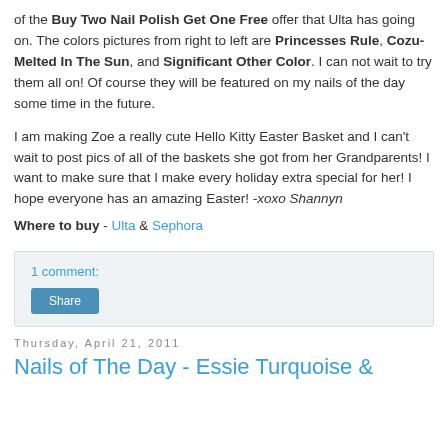of the Buy Two Nail Polish Get One Free offer that Ulta has going on. The colors pictures from right to left are Princesses Rule, Cozu-Melted In The Sun, and Significant Other Color. I can not wait to try them all on! Of course they will be featured on my nails of the day some time in the future.

I am making Zoe a really cute Hello Kitty Easter Basket and I can't wait to post pics of all of the baskets she got from her Grandparents! I want to make sure that I make every holiday extra special for her! I hope everyone has an amazing Easter! -xoxo Shannyn
Where to buy - Ulta & Sephora
1 comment:
Share
Thursday, April 21, 2011
Nails of The Day - Essie Turquoise &